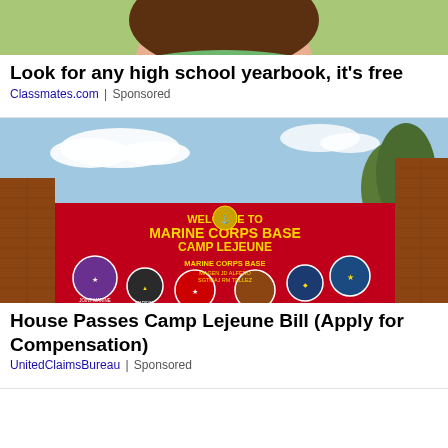[Figure (photo): Partial photo of a person's face/head, cropped at top of page]
Look for any high school yearbook, it's free
Classmates.com | Sponsored
[Figure (photo): Photo of the Marine Corps Base Camp Lejeune welcome sign. Red sign with gold text reading WELCOME TO MARINE CORPS BASE CAMP LEJEUNE, with multiple unit emblems/patches displayed.]
House Passes Camp Lejeune Bill (Apply for Compensation)
UnitedClaimsBureau | Sponsored